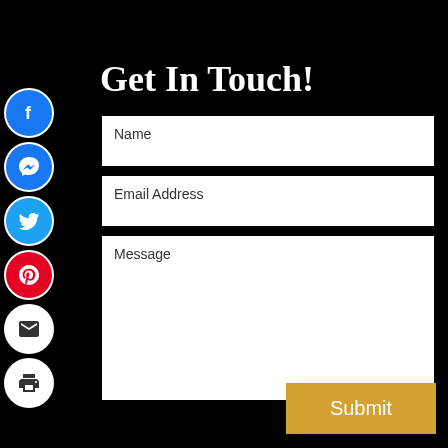Get In Touch!
[Figure (infographic): Vertical stack of social/contact icon circles: Facebook (blue), Messenger (blue), Twitter (blue), Pinterest (red), Email/Mail (white), Print (white)]
Name
Email Address
Message
Submit